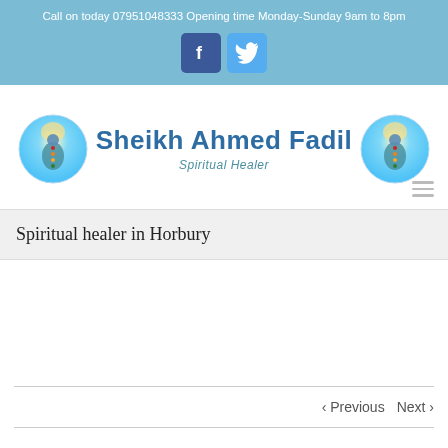Call on today 07951048333 Opening time Monday-Sunday 9am to 8pm
[Figure (logo): Facebook and Twitter social media icon buttons]
[Figure (logo): Sheikh Ahmed Fadil Spiritual Healer logo with meditating figure icons on left and right, text in center]
Spiritual healer in Horbury
< Previous   Next >